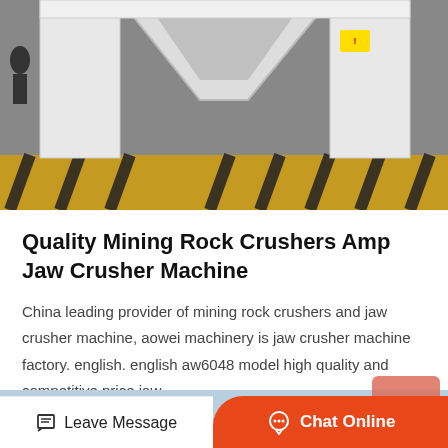[Figure (photo): Industrial jaw crusher machine in a factory setting, white and yellow machinery with black safety stripes on base]
Quality Mining Rock Crushers Amp Jaw Crusher Machine
China leading provider of mining rock crushers and jaw crusher machine, aowei machinery is jaw crusher machine factory. english. english aw6048 model high quality and competitive price jaw…
[Figure (photo): Red crusher jaw plate teeth partially visible at bottom of page with blue background]
Leave Message
Chat Online